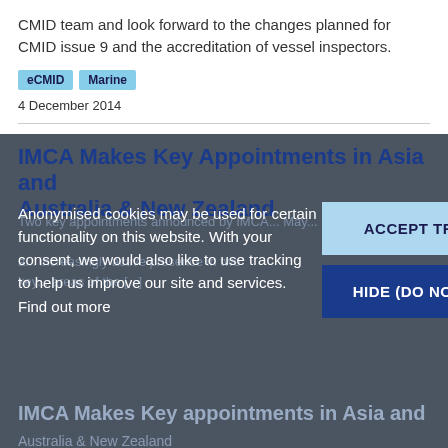CMID team and look forward to the changes planned for CMID issue 9 and the accreditation of vessel inspectors.
eCMID
Marine
4 December 2014
IMCA Makes Key Appointments in Asia and Australia & New Zealand
Anonymised cookies may be used for certain functionality on this website. With your consent, we would also like to use tracking to help us improve our site and services. Find out more
ACCEPT TRACKING
HIDE (DO NOT TRACK)
IMCA Makes Key appointments in Asia and Australia & New Zealand